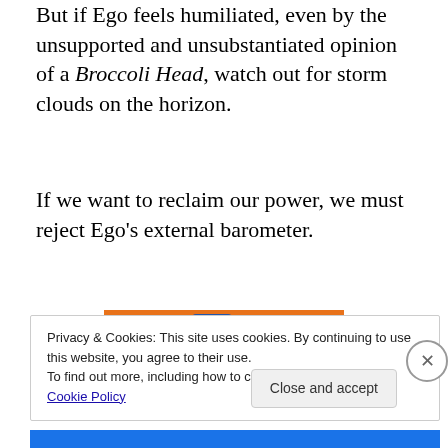But if Ego feels humiliated, even by the unsupported and unsubstantiated opinion of a Broccoli Head, watch out for storm clouds on the horizon.
If we want to reclaim our power, we must reject Ego's external barometer.
[Figure (illustration): Cartoon duck character (Donald Duck style) with blue hat, looking smug or thinking, on an orange background]
Privacy & Cookies: This site uses cookies. By continuing to use this website, you agree to their use.
To find out more, including how to control cookies, see here: Cookie Policy